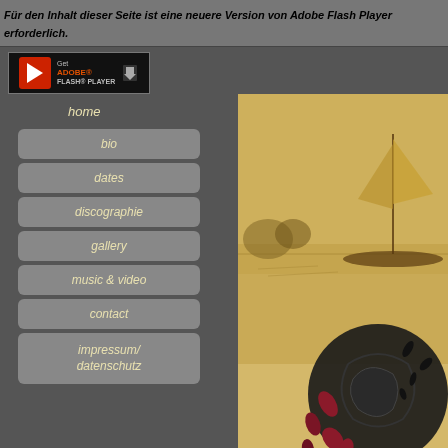Für den Inhalt dieser Seite ist eine neuere Version von Adobe Flash Player erforderlich.
[Figure (screenshot): Get Adobe Flash Player button with red Flash icon and download arrow]
home
bio
dates
discographie
gallery
music & video
contact
impressum/ datenschutz
Visitors since 25th sept. 2011: 129718
[Figure (illustration): Sepia-toned album artwork showing a sailing ship on water with decorative black ornamental design and dark red/crimson leaf shapes in the lower portion]